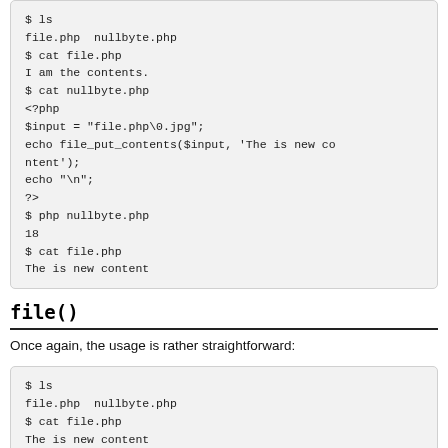$ ls
file.php  nullbyte.php
$ cat file.php
I am the contents.
$ cat nullbyte.php
<?php
$input = "file.php\0.jpg";
echo file_put_contents($input, 'The is new co
ntent');
echo "\n";
?>
$ php nullbyte.php
18
$ cat file.php
The is new content
file()
Once again, the usage is rather straightforward:
$ ls
file.php  nullbyte.php
$ cat file.php
The is new content